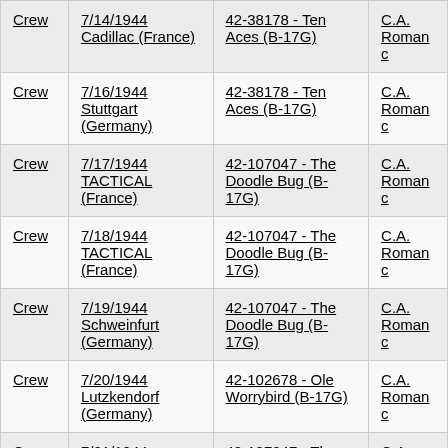|  | Mission | Aircraft | Pilot |
| --- | --- | --- | --- |
| Crew | 7/14/1944 Cadillac (France) | 42-38178 - Ten Aces (B-17G) | C.A. Romanc |
| Crew | 7/16/1944 Stuttgart (Germany) | 42-38178 - Ten Aces (B-17G) | C.A. Romanc |
| Crew | 7/17/1944 TACTICAL (France) | 42-107047 - The Doodle Bug (B-17G) | C.A. Romanc |
| Crew | 7/18/1944 TACTICAL (France) | 42-107047 - The Doodle Bug (B-17G) | C.A. Romanc |
| Crew | 7/19/1944 Schweinfurt (Germany) | 42-107047 - The Doodle Bug (B-17G) | C.A. Romanc |
| Crew | 7/20/1944 Lutzkendorf (Germany) | 42-102678 - Ole Worrybird (B-17G) | C.A. Romanc |
| Crew | 7/21/1944 Regensburg (Germany) | 42-107047 - The Doodle Bug (B-17G) | C.A. Romanc |
| Crew | 7/28/1944 Merseburg (Germany) | 42-107154 - Puddles (B-17G) | C.A. Romanc |
| Crew | 7/31/1944 Munich | 42-102455 - Lucky Lady | C.A. |